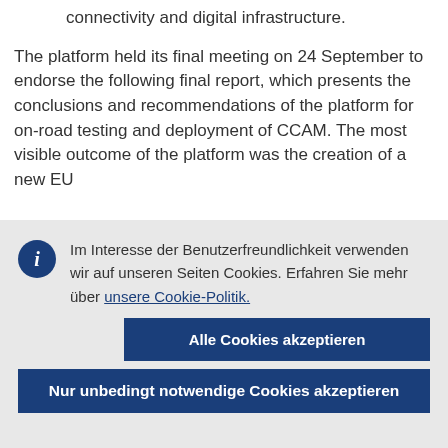connectivity and digital infrastructure.
The platform held its final meeting on 24 September to endorse the following final report, which presents the conclusions and recommendations of the platform for on-road testing and deployment of CCAM. The most visible outcome of the platform was the creation of a new EU
Im Interesse der Benutzerfreundlichkeit verwenden wir auf unseren Seiten Cookies. Erfahren Sie mehr über unsere Cookie-Politik.
Alle Cookies akzeptieren
Nur unbedingt notwendige Cookies akzeptieren